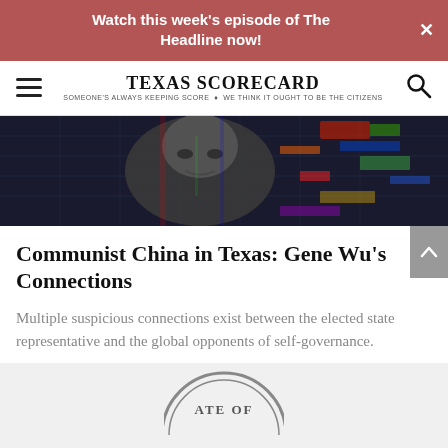Watch this week's episode of The Headline now!
[Figure (logo): Texas Scorecard logo with hamburger menu and search icon. Tagline: SOMEONE'S ALWAYS KEEPING SCORE — WE THINK IT OUGHT TO BE THE CITIZENS]
[Figure (photo): Dark, glitchy editorial photo of an Asian man's face overlaid on a digital/tech background with colorful data visualizations]
Communist China in Texas: Gene Wu's Connections
Multiple suspicious connections exist between the elected state representative and the global opponents of self-governance.
[Figure (photo): Partial view of a circular state seal at the bottom of the page, showing the text 'ATE OF']